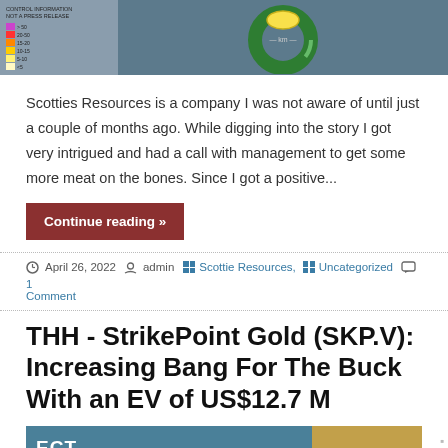[Figure (other): Partial view of a map/chart with color legend on left and a green donut/ring graphic in center on dark blue-grey background]
Scotties Resources is a company I was not aware of until just a couple of months ago. While digging into the story I got very intrigued and had a call with management to get some more meat on the bones. Since I got a positive...
Continue reading »
April 26, 2022  admin  Scottie Resources,  Uncategorized  1 Comment
THH - StrikePoint Gold (SKP.V): Increasing Bang For The Buck With an EV of US$12.7 M
[Figure (other): Partial view of a banner image with teal/blue left section showing text 'ECT' and a tan/gold right section]